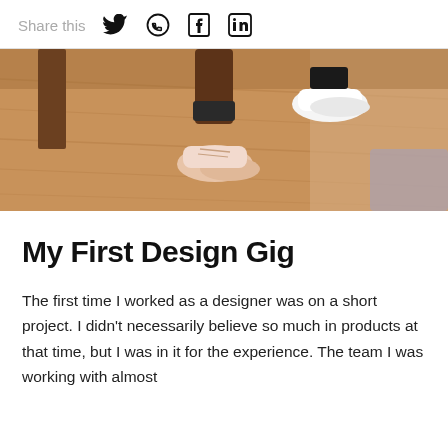Share this [Twitter] [WhatsApp] [Facebook] [LinkedIn]
[Figure (photo): Close-up photo of a person's feet wearing white sneakers and dark socks, standing on a warm-toned wooden floor with a wooden table leg visible on the left.]
My First Design Gig
The first time I worked as a designer was on a short project. I didn't necessarily believe so much in products at that time, but I was in it for the experience. The team I was working with almost